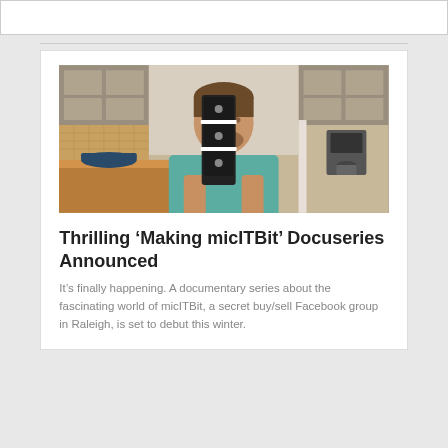[Figure (photo): A man in a teal polo shirt standing in a kitchen, holding up a stack of Apple devices (iPhones/iPads) in front of his face. Kitchen has wood countertops, gray cabinets, and a coffee maker visible in the background.]
Thrilling ‘Making micITBit’ Docuseries Announced
It’s finally happening. A documentary series about the fascinating world of micITBit, a secret buy/sell Facebook group in Raleigh, is set to debut this winter.